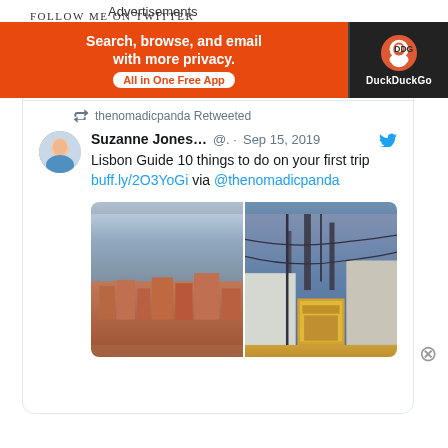FOLLOW ME ON TWITTER
[Figure (screenshot): Twitter widget showing 'Tweets from @thenomadicpanda' with a Follow button, a retweeted post by Suzanne Jones dated Sep 15, 2019, about 'Lisbon Guide 10 things to do on your first trip' with a link buff.ly/2O3YoGi via @thenomadicpanda, and two travel photos of Lisbon.]
Advertisements
[Figure (screenshot): DuckDuckGo advertisement banner: orange background with text 'Search, browse, and email with more privacy. All in One Free App' and DuckDuckGo logo on dark background.]